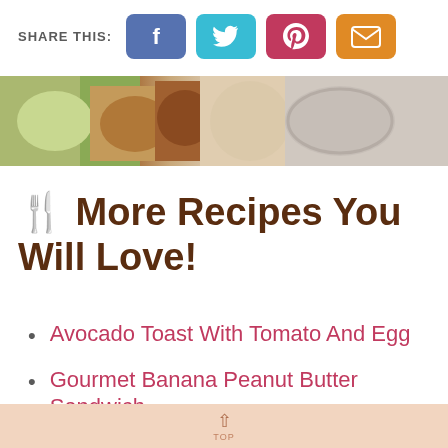SHARE THIS: [Facebook] [Twitter] [Pinterest] [Email]
[Figure (photo): Food image strip showing bread, avocado toast and other dishes on a plate]
🍽 More Recipes You Will Love!
Avocado Toast With Tomato And Egg
Gourmet Banana Peanut Butter Sandwich
Gluten Free Bread Recipe (Best Healthy, Easy Bread!)
▲ Top